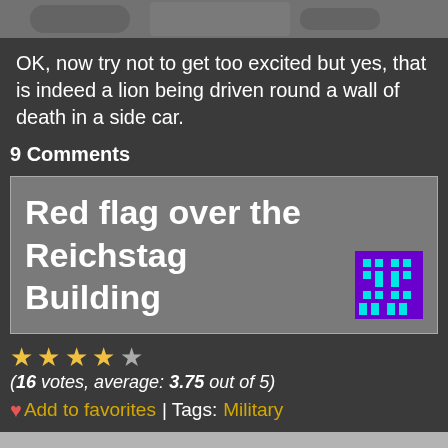[Figure (photo): Top portion of a black and white photograph, cropped at top of page]
OK, now try not to get too excited but yes, that is indeed a lion being driven round a wall of death in a side car.
9 Comments
Red flag over the Reichstag Building
[Figure (illustration): Small pixel-art style avatar icon with cyan/teal figures on purple background]
(16 votes, average: 3.75 out of 5)
❤ Add to favorites | Tags: Military
[Figure (photo): Bottom portion of a black and white photograph showing cloudy sky]